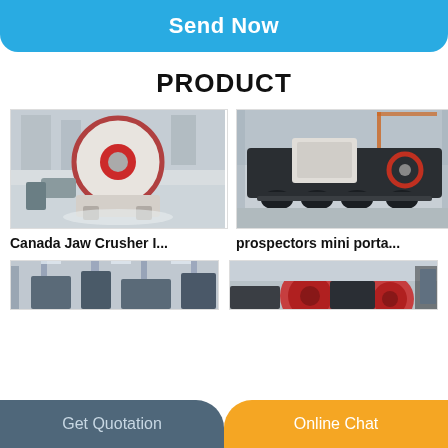Send Now
PRODUCT
[Figure (photo): Industrial jaw crusher machine in white color with red flywheel, photographed in a factory floor]
Canada Jaw Crusher I...
[Figure (photo): Mobile portable mini jaw crusher unit on a truck/trailer chassis, photographed in a large industrial factory]
prospectors mini porta...
[Figure (photo): Industrial factory interior with machinery, partially visible]
[Figure (photo): Industrial factory interior with large mechanical equipment, partially visible]
Get Quotation
Online Chat